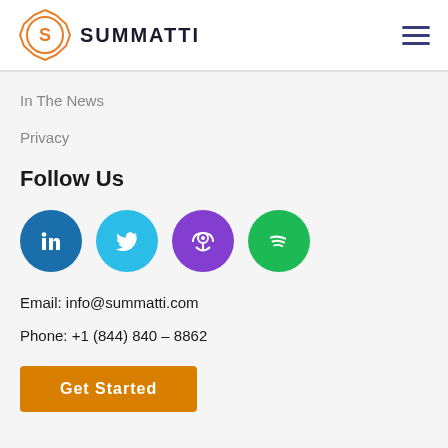SUMMATTI
In The News
Privacy
Follow Us
[Figure (infographic): Four social media icon circles: LinkedIn (dark blue), Twitter (light blue), Podcast (purple), Spotify (green)]
Email: info@summatti.com
Phone: +1 (844) 840 – 8862
Get Started